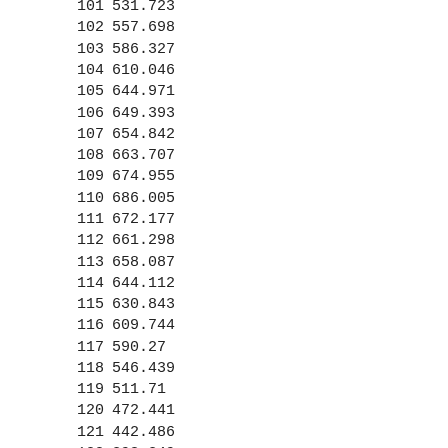| 101 | 531.723 |
| 102 | 557.698 |
| 103 | 586.327 |
| 104 | 610.046 |
| 105 | 644.971 |
| 106 | 649.393 |
| 107 | 654.842 |
| 108 | 663.707 |
| 109 | 674.955 |
| 110 | 686.005 |
| 111 | 672.177 |
| 112 | 661.298 |
| 113 | 658.087 |
| 114 | 644.112 |
| 115 | 630.843 |
| 116 | 609.744 |
| 117 | 590.27 |
| 118 | 546.439 |
| 119 | 511.71 |
| 120 | 472.441 |
| 121 | 442.486 |
| 122 | 398.349 |
| 123 | 355.449 |
| 124 | 314.129 |